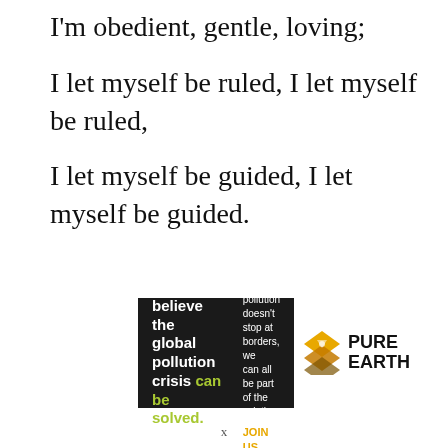I'm obedient, gentle, loving;
I let myself be ruled, I let myself be ruled,
I let myself be guided, I let myself be guided.
[Figure (infographic): Pure Earth advertisement banner: black background with text 'We believe the global pollution crisis can be solved.' with 'can be solved.' in green, right side has small text 'In a world where pollution doesn't stop at borders, we can all be part of the solution.' and 'JOIN US.' in yellow/gold. White section with Pure Earth diamond logo and bold text 'PURE EARTH'.]
x